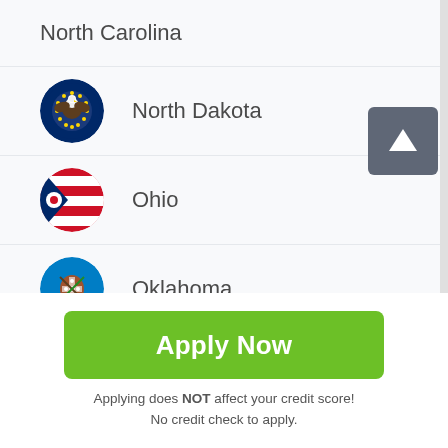North Carolina
North Dakota
Ohio
Oklahoma
Oregon
Pennsylvania
Apply Now
Applying does NOT affect your credit score!
No credit check to apply.